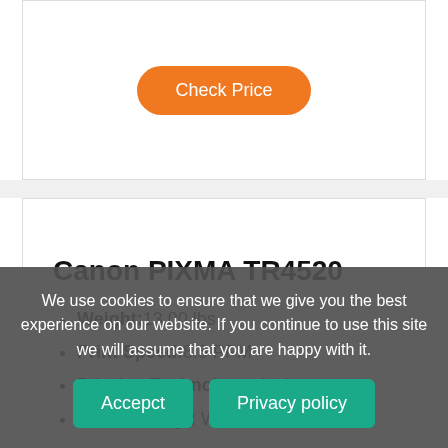[Figure (other): Orange 'Check Price' button at top of page]
Canon PIXMA TR4520
Weight: 13.00 lbs
Print Speed: 8.8 PPM
Printing Technology: Inkjet
Connectivity : Wi-Fi, USB
[Figure (other): Orange 'Check Price' button below specs]
We use cookies to ensure that we give you the best experience on our website. If you continue to use this site we will assume that you are happy with it.